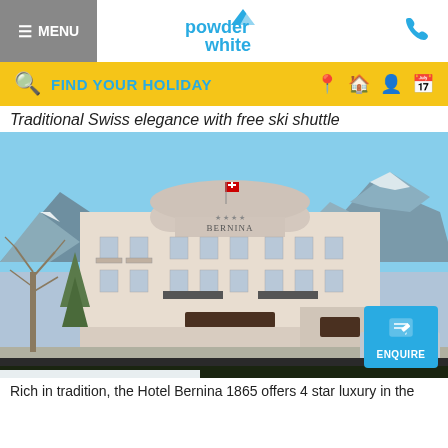≡ MENU | powder white
🔍 FIND YOUR HOLIDAY
Traditional Swiss elegance with free ski shuttle
[Figure (photo): Exterior photograph of Hotel Bernina 1865, a grand white alpine hotel with French balconies, snow-capped mountains in the background, bare trees in the foreground, and a Swiss flag flying from the roof.]
Rich in tradition, the Hotel Bernina 1865 offers 4 star luxury in the